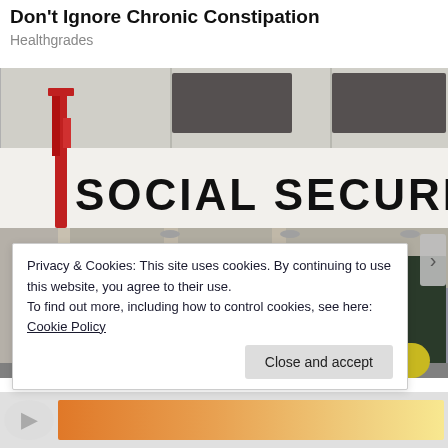Don't Ignore Chronic Constipation
Healthgrades
[Figure (photo): Exterior photo of a Social Security Administration building. A bold sign reading 'SOCIAL SECURITY ADMINIST' (truncated) is visible on the facade. A red sculptural element is on the left side of the building. Glass entrance doors are visible at street level.]
Privacy & Cookies: This site uses cookies. By continuing to use this website, you agree to their use.
To find out more, including how to control cookies, see here: Cookie Policy
Close and accept